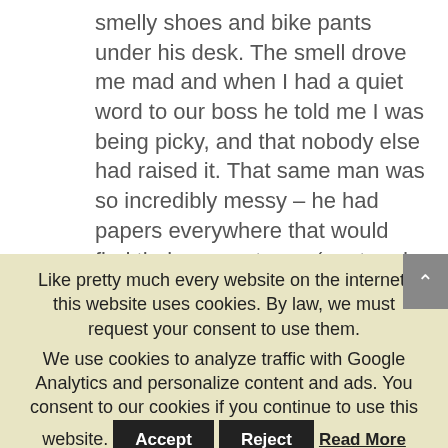smelly shoes and bike pants under his desk. The smell drove me mad and when I had a quiet word to our boss he told me I was being picky, and that nobody else had raised it. That same man was so incredibly messy – he had papers everywhere that would find their way onto my (neat and tidy and perfectly clear) desk – that drove me nuts too. To
Like pretty much every website on the internet, this website uses cookies. By law, we must request your consent to use them.
We use cookies to analyze traffic with Google Analytics and personalize content and ads. You consent to our cookies if you continue to use this website.